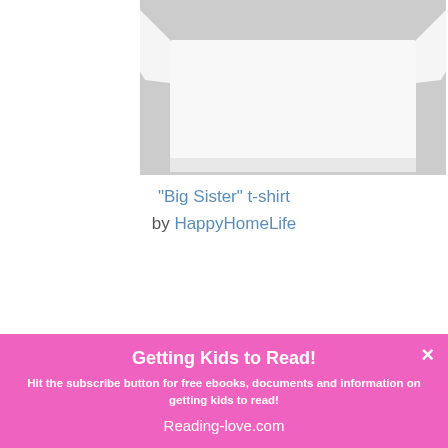[Figure (photo): White t-shirt folded on a light gray background]
"Big Sister" t-shirt by HappyHomeLife
Getting Kids to Read!
Hit the subscribe button for free ebooks, documents and information on getting kids to read!
Reading-love.com
Email
SUBSCRIBE